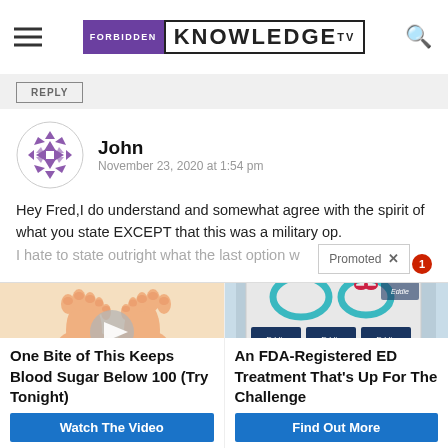FORBIDDEN KNOWLEDGE TV
[Figure (screenshot): Comment section reply button and user comment by John dated November 23, 2020 at 1:54 pm with avatar showing purple geometric pattern. Comment text: Hey Fred,I do understand and somewhat agree with the spirit of what you state EXCEPT that this was a military op. I hate to state outright what the last option w...]
[Figure (photo): Two illustrated feet/toes image with a play button overlay - advertisement for blood sugar remedy]
One Bite of This Keeps Blood Sugar Below 100 (Try Tonight)
Watch The Video
[Figure (photo): Photo of Eddie brand rings/jewelry in white tray with teal packaging - advertisement for ED treatment]
An FDA-Registered ED Treatment That's Up For The Challenge
Find Out More